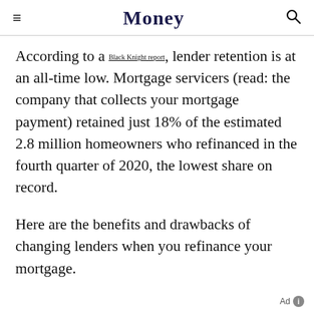Money
According to a Black Knight report, lender retention is at an all-time low. Mortgage servicers (read: the company that collects your mortgage payment) retained just 18% of the estimated 2.8 million homeowners who refinanced in the fourth quarter of 2020, the lowest share on record.
Here are the benefits and drawbacks of changing lenders when you refinance your mortgage.